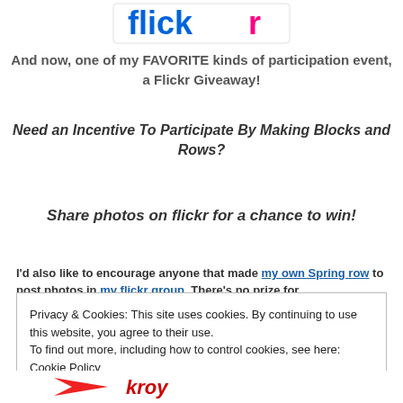[Figure (logo): Flickr logo with blue and pink lettering]
And now, one of my FAVORITE kinds of participation event, a Flickr Giveaway!
Need an Incentive To Participate By Making Blocks and Rows?
Share photos on flickr for a chance to win!
I'd also like to encourage anyone that made my own Spring row to post photos in my flickr group. There's no prize for
Privacy & Cookies: This site uses cookies. By continuing to use this website, you agree to their use.
To find out more, including how to control cookies, see here: Cookie Policy
[Figure (logo): Bottom logos partially visible]